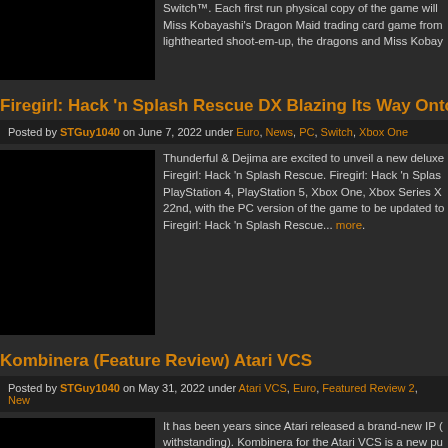Switch™. Each first run physical copy of the game will... Miss Kobayashi's Dragon Maid trading card game from... lighthearted shoot-em-up, the dragons and Miss Kobay...
Firegirl: Hack 'n Splash Rescue DX Blazing Its Way Onto Console
Posted by STGuy1040 on June 7, 2022 under Euro, News, PC, Switch, Xbox One
Thunderful & Dejima are excited to unveil a new deluxe... Firegirl: Hack 'n Splash Rescue. Firegirl: Hack 'n Splas... PlayStation 4, PlayStation 5, Xbox One, Xbox Series X... 22nd, with the PC version of the game to be updated to... Firegirl: Hack 'n Splash Rescue... more.
Kombinera (Feature Review) Atari VCS
Posted by STGuy1040 on May 31, 2022 under Atari VCS, Euro, Featured Review 2, New...
It has been years since Atari released a brand-new IP (... withstanding). Kombinera for the Atari VCS is a new pu... through 300 levels of obstacles and traps, in an effort to... no story or villains; Kombinera is purely a video game i... you start the game for the first time, you are sent rig... m
Sphere: Flying City's Latest Update (PC)